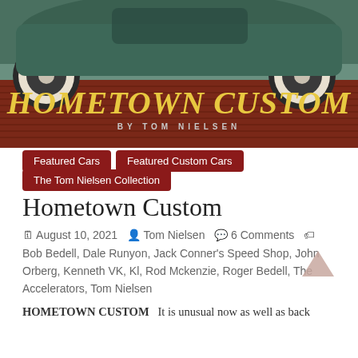[Figure (photo): Banner image showing a vintage teal/green car with white wall tires, with overlay text 'HOMETOWN CUSTOM by Tom Nielsen' in gold/yellow italic lettering on a dark red/brown background]
Featured Cars
Featured Custom Cars
The Tom Nielsen Collection
Hometown Custom
August 10, 2021  Tom Nielsen  6 Comments  Bob Bedell, Dale Runyon, Jack Conner's Speed Shop, John Orberg, Kenneth VK, Kl, Rod Mckenzie, Roger Bedell, The Accelerators, Tom Nielsen
HOMETOWN CUSTOM   It is unusual now as well as back